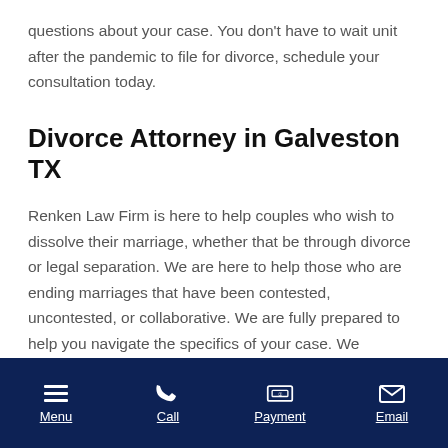questions about your case. You don’t have to wait unit after the pandemic to file for divorce, schedule your consultation today.
Divorce Attorney in Galveston TX
Renken Law Firm is here to help couples who wish to dissolve their marriage, whether that be through divorce or legal separation. We are here to help those who are ending marriages that have been contested, uncontested, or collaborative. We are fully prepared to help you navigate the specifics of your case. We
Menu | Call | Payment | Email